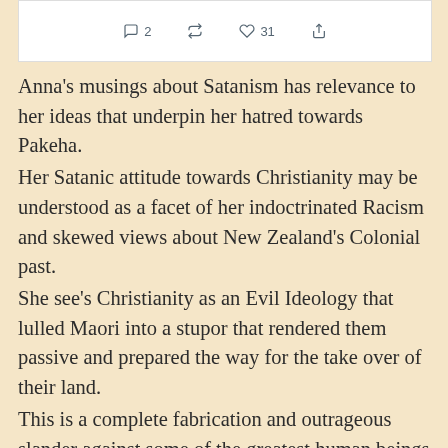[Figure (screenshot): Bottom portion of a tweet showing action icons: reply (2), retweet, like (31), share]
Anna's musings about Satanism has relevance to her ideas that underpin her hatred towards Pakeha.
Her Satanic attitude towards Christianity may be understood as a facet of her indoctrinated Racism and skewed views about New Zealand's Colonial past.
She see's Christianity as an Evil Ideology that lulled Maori into a stupor that rendered them passive and prepared the way for the take over of their land.
This is a complete fabrication and outrageous slander against some of the greatest human beings every to grace these shores.
The Church Missionary Society was instrumental in the abolition of Slavery in the British Empire and it was this...